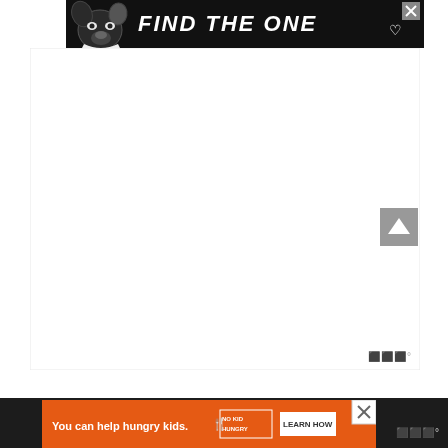[Figure (screenshot): Advertisement banner: black background with dog silhouette image on left, white bold italic text 'FIND THE ONE' with heart symbol, close X button top right]
[Figure (screenshot): Large white content area placeholder (ad or article content area), with gray scroll-to-top arrow button on right side, and Wordmark logo bottom right]
[Figure (screenshot): Bottom advertisement banner: orange background with white text 'You can help hungry kids.' No Kid Hungry logo, and Learn How button; close X in top right corner]